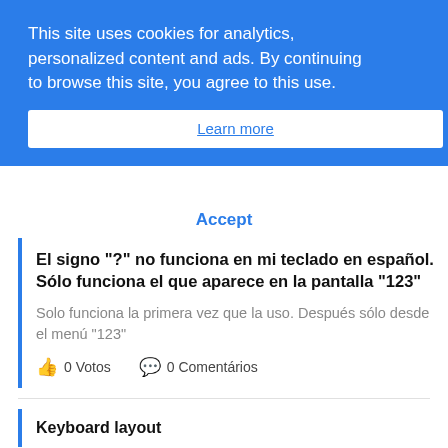This site uses cookies for analytics, personalized content and ads. By continuing to browse this site, you agree to this use.
Learn more
Accept
El signo "?" no funciona en mi teclado en español. Sólo funciona el que aparece en la pantalla "123"
Solo funciona la primera vez que la uso. Después sólo desde el menú "123"
0 Votos   0 Comentários
Keyboard layout